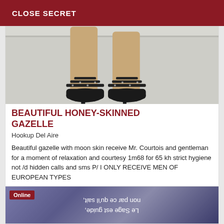CLOSE SECRET
[Figure (photo): Photo showing legs and feet wearing black high-heel sandals on a light gray floor]
BEAUTIFUL HONEY-SKINNED GAZELLE
Hookup Del Aire
Beautiful gazelle with moon skin receive Mr. Courtois and gentleman for a moment of relaxation and courtesy 1m68 for 65 kh strict hygiene not /d hidden calls and sms P/ I ONLY RECEIVE MEN OF EUROPEAN TYPES
[Figure (photo): Photo with purple/blue background showing mirrored text: Le Sage est guide, non par ce qu'il sait,]